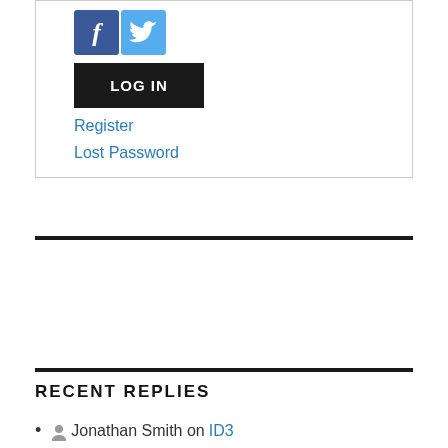[Figure (screenshot): Facebook and Twitter social login icon buttons — blue Facebook 'f' icon and light-blue Twitter bird icon]
[Figure (screenshot): Black LOG IN button]
Register
Lost Password
RECENT REPLIES
Jonathan Smith on ID3